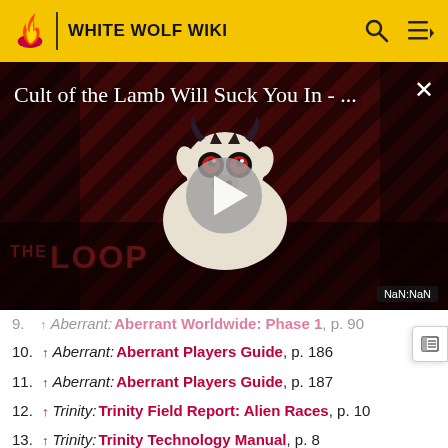WHITE WOLF WIKI
[Figure (screenshot): Video thumbnail for 'Cult of the Lamb Will Suck You In - ...' with play button overlay and THE LOOP watermark, on a dark red diagonal-striped background with a cartoon lamb character.]
9. ↑ Aberrant: Aberrant Worldwide: Phase 1, p. 90
10. ↑ Aberrant: Aberrant Players Guide, p. 186
11. ↑ Aberrant: Aberrant Players Guide, p. 187
12. ↑ Trinity: Trinity Field Report: Alien Races, p. 10
13. ↑ Trinity: Trinity Technology Manual, p. 8